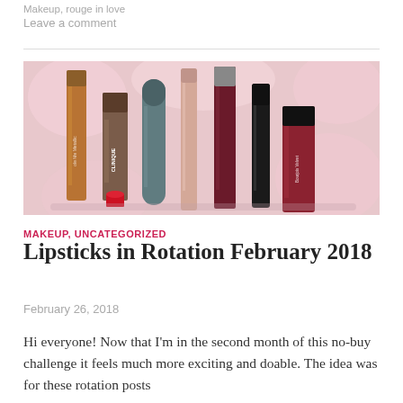Makeup, rouge in love
Leave a comment
[Figure (photo): Flat lay of several lipstick and lip gloss tubes standing upright against a soft floral pink background. Products include items from brands such as Clinique and others, in various shades from nude to deep berry and red.]
MAKEUP, UNCATEGORIZED
Lipsticks in Rotation February 2018
February 26, 2018
Hi everyone! Now that I'm in the second month of this no-buy challenge it feels much more exciting and doable. The idea was for these rotation posts